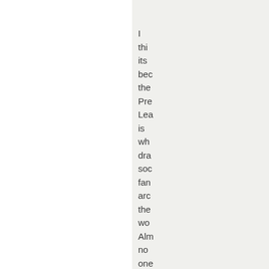I thin its bec the Pre Lea is wh dra soc fan arc the wo Alm no one wh not an En